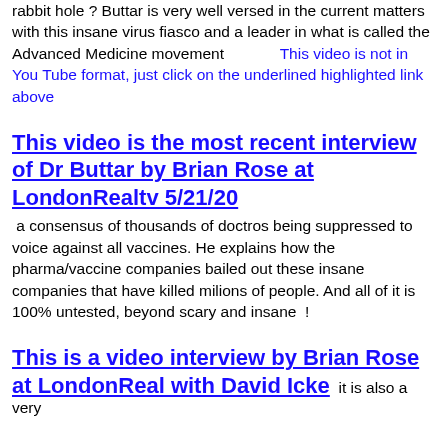rabbit hole ? Buttar is very well versed in the current matters with this insane virus fiasco and a leader in what is called the Advanced Medicine movement   This video is not in You Tube format, just click on the underlined highlighted link above
This video is the most recent interview of Dr Buttar by Brian Rose at LondonRealtv 5/21/20
a consensus of thousands of doctros being suppressed to voice against all vaccines. He explains how the pharma/vaccine companies bailed out these insane companies that have killed milions of people. And all of it is 100% untested, beyond scary and insane !
This is a video interview by Brian Rose at LondonReal with David Icke
it is also a very